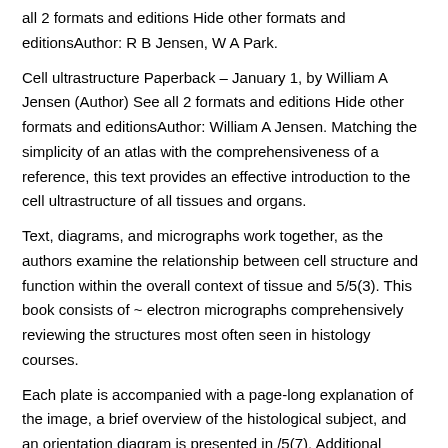all 2 formats and editions Hide other formats and editionsAuthor: R B Jensen, W A Park.
Cell ultrastructure Paperback – January 1, by William A Jensen (Author) See all 2 formats and editions Hide other formats and editionsAuthor: William A Jensen. Matching the simplicity of an atlas with the comprehensiveness of a reference, this text provides an effective introduction to the cell ultrastructure of all tissues and organs.
Text, diagrams, and micrographs work together, as the authors examine the relationship between cell structure and function within the overall context of tissue and 5/5(3). This book consists of ~ electron micrographs comprehensively reviewing the structures most often seen in histology courses.
Each plate is accompanied with a page-long explanation of the image, a brief overview of the histological subject, and an orientation diagram is presented in /5(7). Additional Physical Format: Online version: Wolfe, Stephen L. Cell ultrastructure. Belmont, Calif.: Wadsworth Pub.
Co., © (OCoLC) Online version. Cell ultrastructure. [William A Jensen;